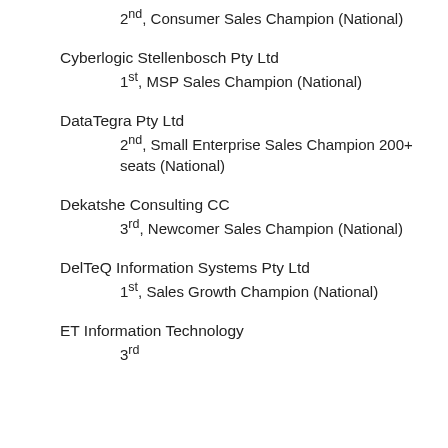2nd, Consumer Sales Champion (National)
Cyberlogic Stellenbosch Pty Ltd
1st, MSP Sales Champion (National)
DataTegra Pty Ltd
2nd, Small Enterprise Sales Champion 200+ seats (National)
Dekatshe Consulting CC
3rd, Newcomer Sales Champion (National)
DelTeQ Information Systems Pty Ltd
1st, Sales Growth Champion (National)
ET Information Technology
3rd, ...